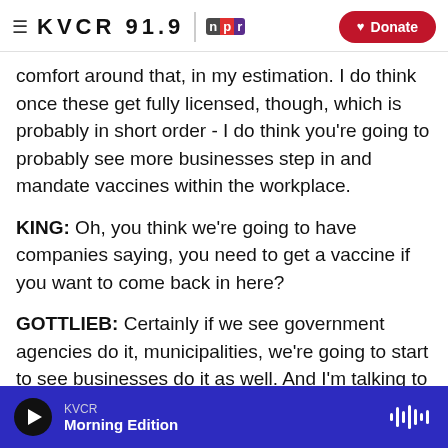KVCR 91.9 NPR | Donate
comfort around that, in my estimation. I do think once these get fully licensed, though, which is probably in short order - I do think you're going to probably see more businesses step in and mandate vaccines within the workplace.
KING: Oh, you think we're going to have companies saying, you need to get a vaccine if you want to come back in here?
GOTTLIEB: Certainly if we see government agencies do it, municipalities, we're going to start to see businesses do it as well. And I'm talking to a lot
KVCR | Morning Edition